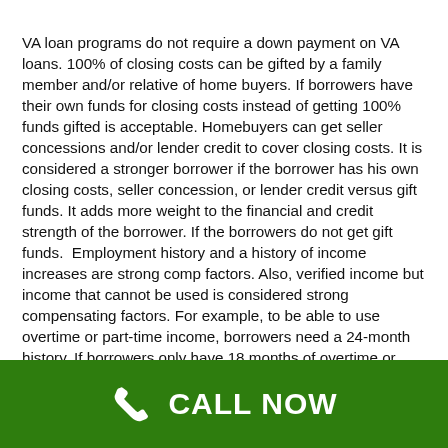VA loan programs do not require a down payment on VA loans. 100% of closing costs can be gifted by a family member and/or relative of home buyers. If borrowers have their own funds for closing costs instead of getting 100% funds gifted is acceptable. Homebuyers can get seller concessions and/or lender credit to cover closing costs. It is considered a stronger borrower if the borrower has his own closing costs, seller concession, or lender credit versus gift funds. It adds more weight to the financial and credit strength of the borrower. If the borrowers do not get gift funds.  Employment history and a history of income increases are strong comp factors. Also, verified income but income that cannot be used is considered strong compensating factors. For example, to be able to use overtime or part-time income, borrowers need a 24-month history. If borrowers only have 18 months of overtime or part-time income, it cannot be used as income since it is short of the 24-month requirement. However, overtime and part-time income can be verified. This verified income is a
[Figure (infographic): Green footer bar with white phone handset icon and bold white text 'CALL NOW']